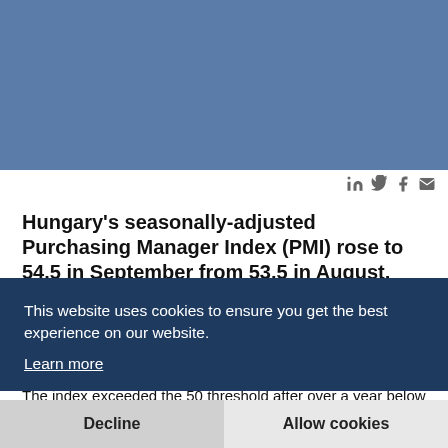[Figure (other): Blue/steel-blue header image placeholder]
Hungary's seasonally-adjusted Purchasing Manager Index (PMI) rose to 54.5 in September from 53.5 in August, showed data from Markit/CIPS Nalpim, the company which compiles the index, announced.
The index exceeded the 50 threshold after over a year below it, stronger than at any time over during the previous three years. The unadjusted index
This website uses cookies to ensure you get the best experience on our website. Learn more
Decline
Allow cookies